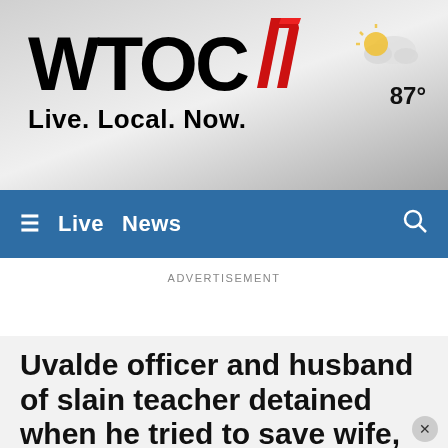[Figure (logo): WTOC 11 news station logo with red graphic elements and tagline 'Live. Local. Now.' on a gray gradient background with weather widget showing partly cloudy 87°]
≡  Live  News  🔍
ADVERTISEMENT
Uvalde officer and husband of slain teacher detained when he tried to save wife, official says
By Gray News staff
Published: Jun 02, 2022 at 5:10 PM UTC |